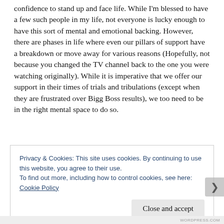confidence to stand up and face life. While I'm blessed to have a few such people in my life, not everyone is lucky enough to have this sort of mental and emotional backing. However, there are phases in life where even our pillars of support have a breakdown or move away for various reasons (Hopefully, not because you changed the TV channel back to the one you were watching originally). While it is imperative that we offer our support in their times of trials and tribulations (except when they are frustrated over Bigg Boss results), we too need to be in the right mental space to do so.
Privacy & Cookies: This site uses cookies. By continuing to use this website, you agree to their use.
To find out more, including how to control cookies, see here: Cookie Policy
Close and accept